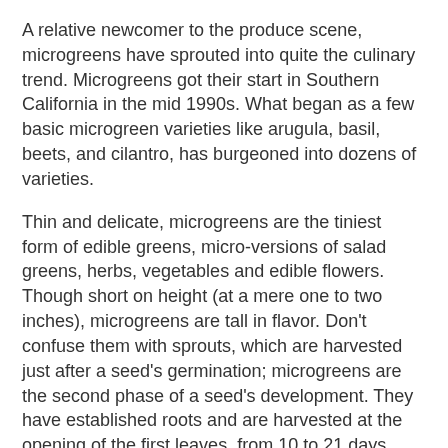A relative newcomer to the produce scene, microgreens have sprouted into quite the culinary trend. Microgreens got their start in Southern California in the mid 1990s. What began as a few basic microgreen varieties like arugula, basil, beets, and cilantro, has burgeoned into dozens of varieties.
Thin and delicate, microgreens are the tiniest form of edible greens, micro-versions of salad greens, herbs, vegetables and edible flowers. Though short on height (at a mere one to two inches), microgreens are tall in flavor. Don't confuse them with sprouts, which are harvested just after a seed's germination; microgreens are the second phase of a seed's development. They have established roots and are harvested at the opening of the first leaves, from 10 to 21 days after the seeds are sown. Their rainbow hues--shades of green to fuchsia--denote their cache of health-protective plant pigments. Depending on the microgreen variety, they provide varying amounts of vitamins A and C, minerals and fiber.